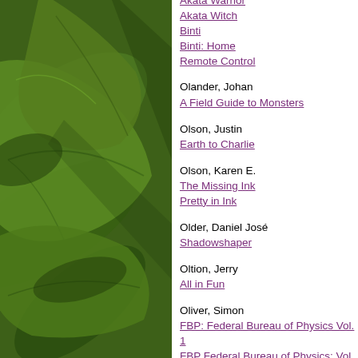[Figure (photo): Close-up photograph of green leaves with visible leaf veins, occupying the left half of the page]
Akata Warrior
Akata Witch
Binti
Binti: Home
Remote Control
Olander, Johan
A Field Guide to Monsters
Olson, Justin
Earth to Charlie
Olson, Karen E.
The Missing Ink
Pretty in Ink
Older, Daniel José
Shadowshaper
Oltion, Jerry
All in Fun
Oliver, Simon
FBP: Federal Bureau of Physics Vol. 1
FBP Federal Bureau of Physics: Vol. 2
FBP: Federal Bureau of Physics Vol. 3
FBP: Federal Bureau of Physics, Vol. 4
Ollmann, Joe
Science Fiction